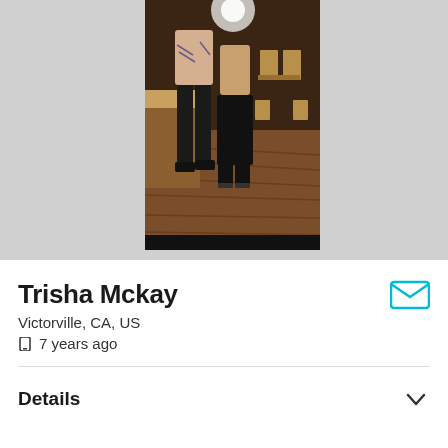[Figure (photo): Two people standing in what appears to be a bar or restaurant interior with wooden floors and chairs visible in the background. One person has visible tattoos on their arms.]
Trisha Mckay
Victorville, CA, US
7 years ago
Details